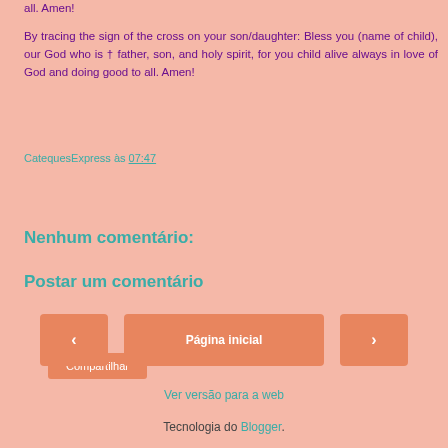all. Amen!
By tracing the sign of the cross on your son/daughter: Bless you (name of child), our God who is † father, son, and holy spirit, for you child alive always in love of God and doing good to all. Amen!
CatequesExpress às 07:47
Compartilhar
Nenhum comentário:
Postar um comentário
‹
Página inicial
›
Ver versão para a web
Tecnologia do Blogger.